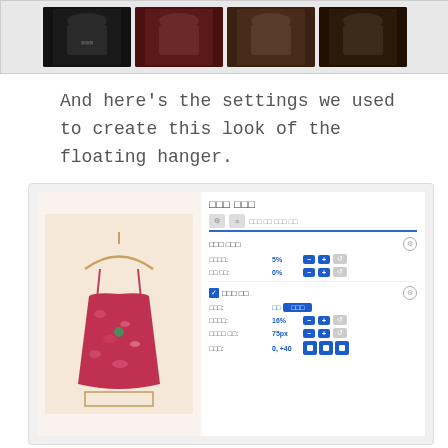[Figure (screenshot): Strip of four product images of a floral dress on dark backgrounds (black, maroon, brown, dark brown)]
And here's the settings we used to create this look of the floating hanger.
[Figure (screenshot): Software UI screenshot showing a dress image on a hanger with settings panel on the right. Settings include sections with percentage controls (5%, 0%, 16%, 75px, 0, +40) and toggles.]